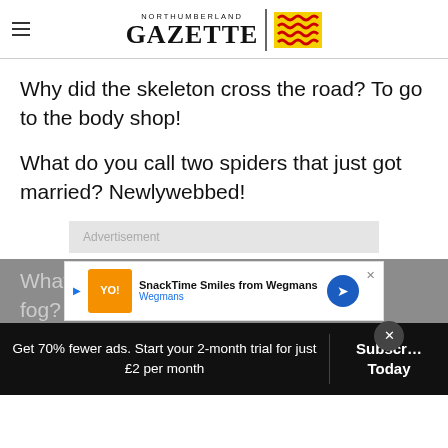NORTHUMBERLAND GAZETTE
Why did the skeleton cross the road? To go to the body shop!
What do you call two spiders that just got married? Newlywebbed!
[Figure (other): Advertisement placeholder box with text 'Advertisement']
What ... fog? He is mist.
[Figure (other): Wegmans ad overlay: SnackTime Smiles from Wegmans]
Get 70% fewer ads. Start your 2-month trial for just £2 per month
Subscribe Today